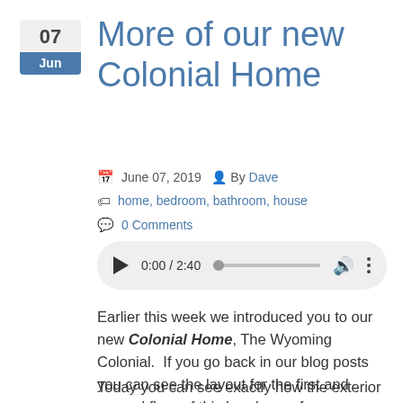More of our new Colonial Home
June 07, 2019  By Dave
home, bedroom, bathroom, house
0 Comments
[Figure (other): Audio player showing 0:00 / 2:40 with play button, progress bar, volume and more options icons]
Earlier this week we introduced you to our new Colonial Home, The Wyoming Colonial.  If you go back in our blog posts you can see the layout for the first and second floor of this handsome four-bedroom, three full bathroom, colonial home.
Today you can see exactly how the exterior of the home will look.